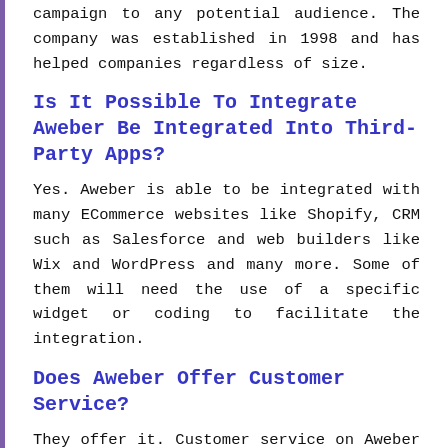campaign to any potential audience. The company was established in 1998 and has helped companies regardless of size.
Is It Possible To Integrate Aweber Be Integrated Into Third-Party Apps?
Yes. Aweber is able to be integrated with many ECommerce websites like Shopify, CRM such as Salesforce and web builders like Wix and WordPress and many more. Some of them will need the use of a specific widget or coding to facilitate the integration.
Does Aweber Offer Customer Service?
They offer it. Customer service on Aweber is available during working hours via phone, chat or via email. Aweber also has an in-house Knowledge Base where you can learn more about the platform, videos as well as live webinars scheduled.